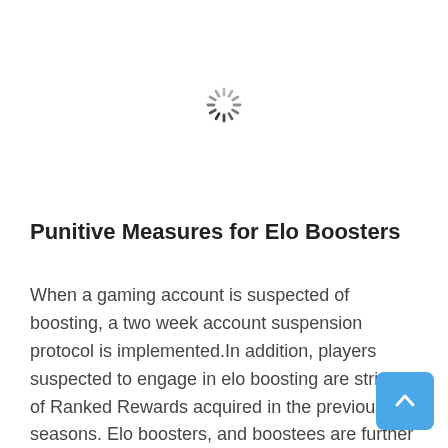[Figure (other): Loading spinner icon — a circular arrangement of short tick marks in gray, resembling a loading/busy indicator]
Punitive Measures for Elo Boosters
When a gaming account is suspected of boosting, a two week account suspension protocol is implemented.In addition, players suspected to engage in elo boosting are striped of Ranked Rewards acquired in the previous seasons. Elo boosters, and boostees are further excluded from